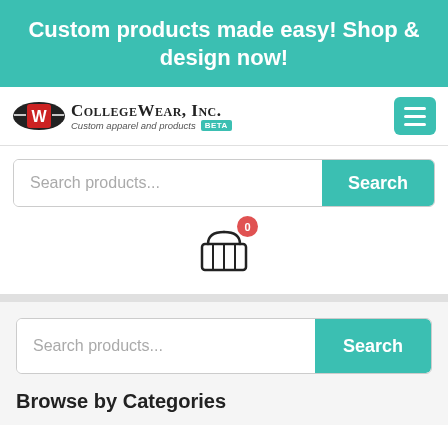Custom products made easy! Shop & design now!
[Figure (logo): CollegeWear, Inc. logo with red W emblem, company name, tagline 'Custom apparel and products' and BETA badge]
[Figure (other): Shopping basket icon with red badge showing 0 items]
Search products...
Search
Search products...
Search
Browse by Categories